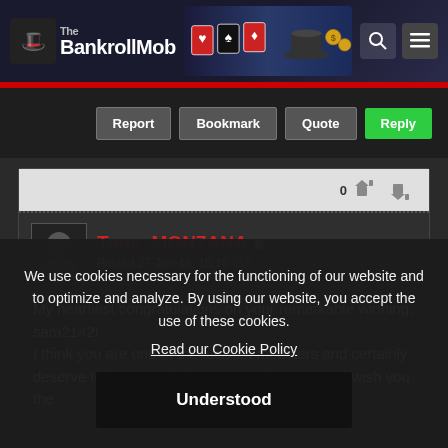The BankrollMob
Report  Bookmark  Quote  Reply
0
Tony_MON7ANA  Posted 27-Jun-16, 16:16  #18
My heartiest congratulations on your remarkable winning, sam2142!
I think you are one of the luckiest mobsters and certainly deserve to be rewarded. I congratulate you and wish you the
We use cookies necessary for the functioning of our website and to optimize and analyze. By using our website, you accept the use of these cookies.
Read our Cookie Policy
Understood